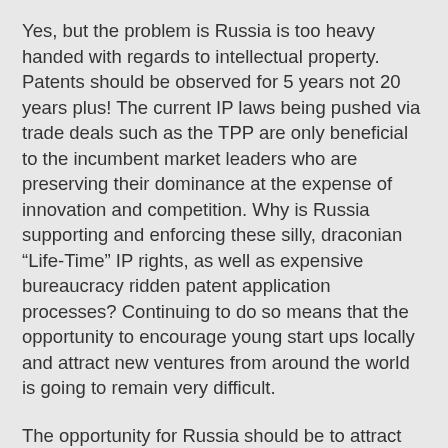Yes, but the problem is Russia is too heavy handed with regards to intellectual property. Patents should be observed for 5 years not 20 years plus! The current IP laws being pushed via trade deals such as the TPP are only beneficial to the incumbent market leaders who are preserving their dominance at the expense of innovation and competition. Why is Russia supporting and enforcing these silly, draconian “Life-Time” IP rights, as well as expensive bureaucracy ridden patent application processes? Continuing to do so means that the opportunity to encourage young start ups locally and attract new ventures from around the world is going to remain very difficult.
The opportunity for Russia should be to attract High Technology start ups who can base themselves in Russia and avoid the expensive hurdles of patents & other IP barriers – critical at the start up stage. Such companies could do all the R&D using local talent and build production scale by leveraging the reasonable domestic market and those of neighboring China etc… Meanwhile the supply chains and talent pool in Russia is growing fast! Once the scale is in place for such enterprises and products market proven, these companies can simply negotiate patent